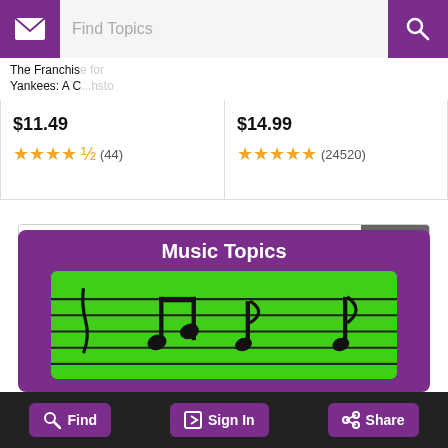Find Topics
The Franchise... Yankees: A C... histo...
$11.49
★★★★½ (44)
$14.99
★★★★★ (24520)
Alex Torres (baseball)
Ads by Amazon
Music Topics
Find  Sign In  Share